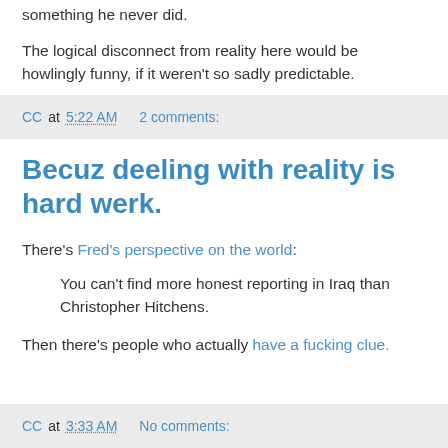something he never did.
The logical disconnect from reality here would be howlingly funny, if it weren't so sadly predictable.
CC at 5:22 AM   2 comments:
Becuz deeling with reality is hard werk.
There's Fred's perspective on the world:
You can't find more honest reporting in Iraq than Christopher Hitchens.
Then there's people who actually have a fucking clue.
CC at 3:33 AM   No comments: